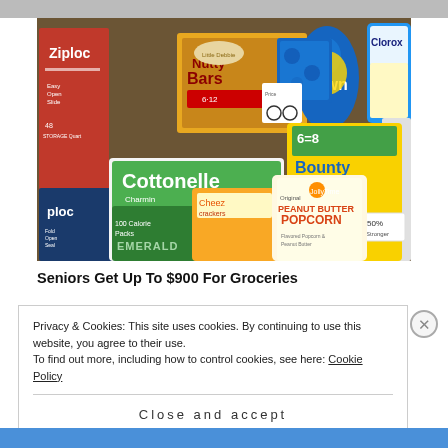[Figure (photo): Photo of various grocery and household products including Ziploc bags, Nutty Bars, Cottonelle toilet paper, Bounty Basic paper towels, Dawn dish soap, Clorox bleach, Emerald snacks, and Peanut Butter Popcorn arranged on a brown surface.]
Seniors Get Up To $900 For Groceries
Privacy & Cookies: This site uses cookies. By continuing to use this website, you agree to their use.
To find out more, including how to control cookies, see here: Cookie Policy
Close and accept